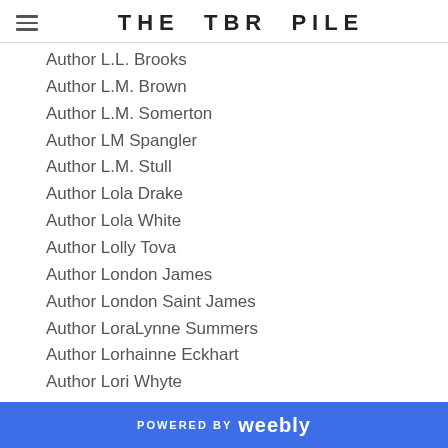THE TBR PILE
Author L.L. Brooks
Author L.M. Brown
Author L.M. Somerton
Author LM Spangler
Author L.M. Stull
Author Lola Drake
Author Lola White
Author Lolly Tova
Author London James
Author London Saint James
Author LoraLynne Summers
Author Lorhainne Eckhart
Author Lori Whyte
Author Lorraine Nelson
Author Louise Collins
Author L.R. Wright
Author Lucy Felthouse
Author Luke N. Glass.
POWERED BY weebly